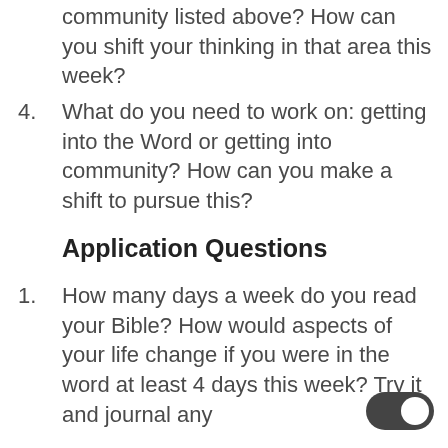community listed above? How can you shift your thinking in that area this week?
4. What do you need to work on: getting into the Word or getting into community? How can you make a shift to pursue this?
Application Questions
1. How many days a week do you read your Bible? How would aspects of your life change if you were in the word at least 4 days this week? Try it and journal any